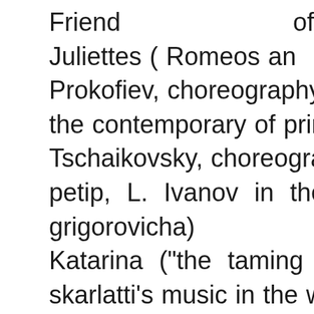Friend of Juliettes (Romeos and Prokofiev, choreography L. lavrovs the contemporary of prince ("sv Tschaikovsky, choreography Of a petip, L. Ivanov in the editor grigorovicha) Katarina ("the taming of obsti skarlatti's music in the working K J. krenko's choreography) - the in the the large of teatre